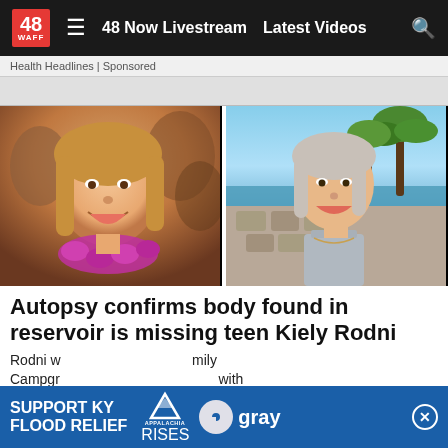48 WAFF | 48 Now Livestream | Latest Videos
Health Headlines | Sponsored
[Figure (photo): Two photos of missing teen Kiely Rodni side by side. Left photo shows a smiling young blonde girl at what appears to be an outdoor event, wearing a floral lei. Right photo shows the same young woman smiling outdoors near the ocean with palm trees in the background.]
Autopsy confirms body found in reservoir is missing teen Kiely Rodni
Rodni w... mily Campgr... with
[Figure (infographic): SUPPORT KY FLOOD RELIEF banner advertisement with Appalachia Rises and gray television logos]